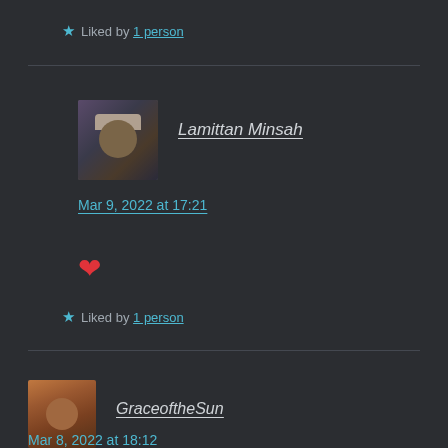★ Liked by 1 person
Lamittan Minsah
Mar 9, 2022 at 17:21
❤
★ Liked by 1 person
GraceoftheSun
Mar 8, 2022 at 18:12